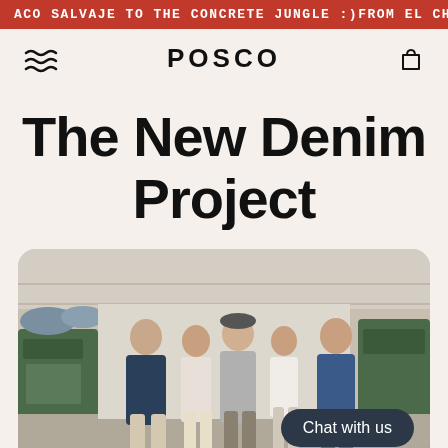ACO SALVAJE TO THE CONCRETE JUNGLE :)    FROM EL CHA
POSCO
The New Denim Project
[Figure (photo): Five people (three men and two women) standing together in a textile factory/warehouse with machinery and rolled fabric bolts in the background. A dark pill-shaped 'Chat with us' button overlays the lower right of the image.]